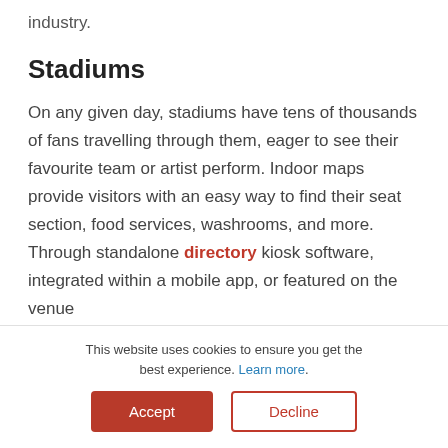industry.
Stadiums
On any given day, stadiums have tens of thousands of fans travelling through them, eager to see their favourite team or artist perform. Indoor maps provide visitors with an easy way to find their seat section, food services, washrooms, and more. Through standalone directory kiosk software, integrated within a mobile app, or featured on the venue
This website uses cookies to ensure you get the best experience. Learn more.
Accept | Decline